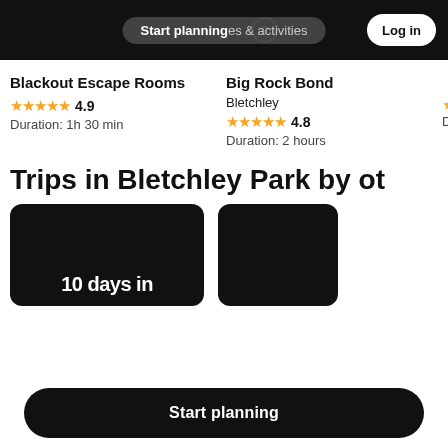Start planning | experiences & activities | Log in
Blackout Escape Rooms
★★★★★ 4.9
Duration: 1h 30 min
Big Rock Bond
Bletchley
★★★★★ 4.8
Duration: 2 hours
Trips in Bletchley Park by ot
[Figure (screenshot): Two dark trip card thumbnails partially visible]
10 days in
Start planning